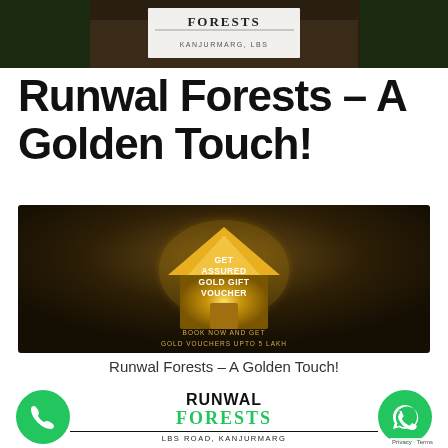[Figure (logo): Runwal Forests logo header banner with dark background showing forest/garden path imagery and white logo box with text FORESTS, KANJURMARG, LBS]
Runwal Forests – A Golden Touch!
[Figure (photo): Dark brown promotional banner with golden glowing house icon shape containing text: GET ASSURED GOLD GIFT VOUCHER. Below reads: BOOK NOW AND GET GOLD VOUCHERS UPTO 5 LAKH]
Runwal Forests – A Golden Touch!
[Figure (logo): Bottom bar with green phone call button icon on left, Runwal Forests LBS Road Kanjurmarg logo in center (RUNWAL in black bold, FORESTS in green, LBS ROAD, KANJURMARG below), and green WhatsApp icon on right with Privacy Terms badge]